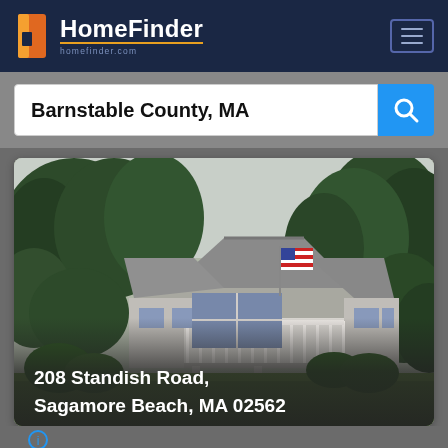HomeFinder
Barnstable County, MA
[Figure (photo): Exterior photo of a Cape Cod style house with a large green lawn, surrounded by trees, with an American flag on the porch/deck. The house is gray/white with a deck.]
208 Standish Road, Sagamore Beach, MA 02562